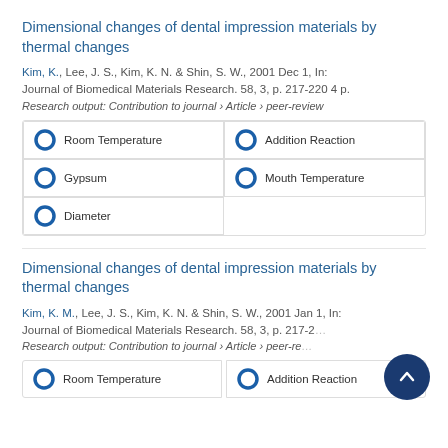Dimensional changes of dental impression materials by thermal changes
Kim, K., Lee, J. S., Kim, K. N. & Shin, S. W., 2001 Dec 1, In: Journal of Biomedical Materials Research. 58, 3, p. 217-220 4 p.
Research output: Contribution to journal › Article › peer-review
Room Temperature
Addition Reaction
Gypsum
Mouth Temperature
Diameter
Dimensional changes of dental impression materials by thermal changes
Kim, K. M., Lee, J. S., Kim, K. N. & Shin, S. W., 2001 Jan 1, In: Journal of Biomedical Materials Research. 58, 3, p. 217-2…
Research output: Contribution to journal › Article › peer-re…
Room Temperature
Addition Reaction